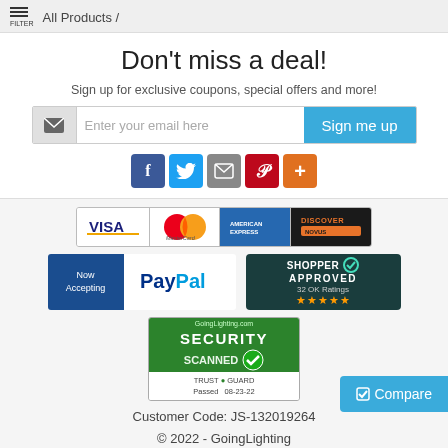FILTER / All Products /
Don't miss a deal!
Sign up for exclusive coupons, special offers and more!
[Figure (screenshot): Email signup bar with icon, placeholder text 'Enter your email here', and 'Sign me up' blue button]
[Figure (infographic): Social share buttons: Facebook, Twitter, Email, Pinterest, Plus]
[Figure (infographic): Payment badges: Visa, MasterCard, American Express, Discover credit card strip]
[Figure (infographic): Now Accepting PayPal badge and Shopper Approved badge with 32 OK Ratings and 5 stars]
[Figure (infographic): GoingLighting.com Security Scanned TrustGuard Passed 08-23-22 badge]
[Figure (screenshot): Compare button (blue, bottom-right)]
Customer Code: JS-132019264
© 2022 - GoingLighting